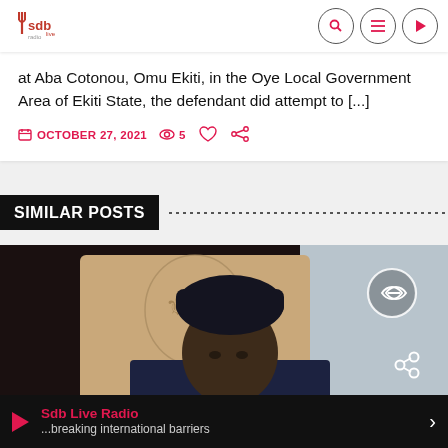Sdb logo | search, menu, play icons
at Aba Cotonou, Omu Ekiti, in the Oye Local Government Area of Ekiti State, the defendant did attempt to [...]
OCTOBER 27, 2021  5
SIMILAR POSTS
[Figure (photo): Photo of a man in a dark cap and navy suit, seated in front of a gold/beige official chair, with a blue-grey background on the right. Two overlay icons: a link icon and a share icon.]
Sdb Live Radio ...breaking international barriers